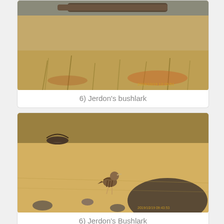[Figure (photo): Photograph of a bird (Jerdon's bushlark) in dry grassland habitat with dried grass and a log visible in the background. Photo timestamp visible in bottom right.]
6) Jerdon's bushlark
[Figure (photo): Photograph of a bird (Jerdon's Bushlark) standing on sandy/gravelly ground with rocks and sparse dry vegetation. Another bird visible in the upper left flying. Photo timestamp visible in bottom right.]
6) Jerdon's Bushlark
[Figure (photo): Partially visible photograph showing a pale blue sky, cut off at bottom of page.]